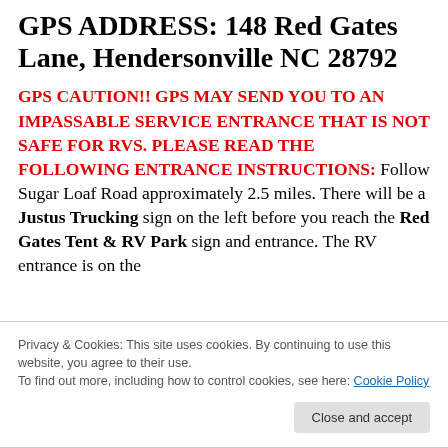GPS ADDRESS: 148 Red Gates Lane, Hendersonville NC 28792
GPS CAUTION!! GPS MAY SEND YOU TO AN IMPASSABLE SERVICE ENTRANCE THAT IS NOT SAFE FOR RVs. PLEASE READ THE FOLLOWING ENTRANCE INSTRUCTIONS: Follow Sugar Loaf Road approximately 2.5 miles. There will be a Justus Trucking sign on the left before you reach the Red Gates Tent & RV Park sign and entrance. The RV entrance is on the
Privacy & Cookies: This site uses cookies. By continuing to use this website, you agree to their use.
To find out more, including how to control cookies, see here: Cookie Policy